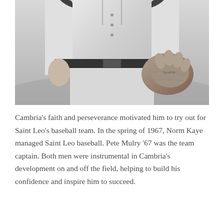[Figure (photo): Black and white photograph of a baseball player in uniform, holding a glove, shown from the torso down. The player is wearing a light-colored baseball uniform with a dark belt.]
Cambria’s faith and perseverance motivated him to try out for Saint Leo’s baseball team. In the spring of 1967, Norm Kaye managed Saint Leo baseball. Pete Mulry ’67 was the team captain. Both men were instrumental in Cambria’s development on and off the field, helping to build his confidence and inspire him to succeed.